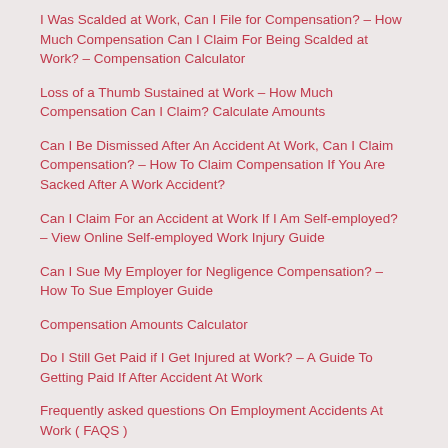I Was Scalded at Work, Can I File for Compensation? – How Much Compensation Can I Claim For Being Scalded at Work? – Compensation Calculator
Loss of a Thumb Sustained at Work – How Much Compensation Can I Claim? Calculate Amounts
Can I Be Dismissed After An Accident At Work, Can I Claim Compensation? – How To Claim Compensation If You Are Sacked After A Work Accident?
Can I Claim For an Accident at Work If I Am Self-employed? – View Online Self-employed Work Injury Guide
Can I Sue My Employer for Negligence Compensation? – How To Sue Employer Guide
Compensation Amounts Calculator
Do I Still Get Paid if I Get Injured at Work? – A Guide To Getting Paid If After Accident At Work
Frequently asked questions On Employment Accidents At Work ( FAQS )
How Long Does an Accident at Work Claim Take to Settle and Get Compensation?
I Broke a Finger at Work Can I Claim Compensation From an